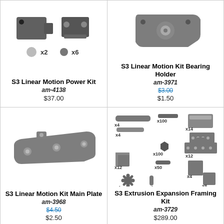[Figure (photo): S3 Linear Motion Power Kit product photo with x2 and x6 quantity indicators]
S3 Linear Motion Power Kit
am-4138
$37.00
[Figure (photo): S3 Linear Motion Kit Bearing Holder product photo]
S3 Linear Motion Kit Bearing Holder
am-3971
$3.00 (strikethrough), $1.50
[Figure (photo): S3 Linear Motion Kit Main Plate product photo]
S3 Linear Motion Kit Main Plate
am-3968
$4.50 (strikethrough), $2.50
[Figure (photo): S3 Extrusion Expansion Framing Kit product photo with multiple components and quantity labels: x4, x4, x4, x12, x4, x4, x4, x8, x100, x100, x50, x14, x4, x12]
S3 Extrusion Expansion Framing Kit
am-3729
$289.00